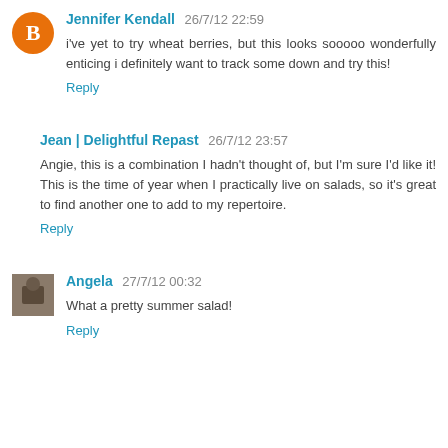Jennifer Kendall 26/7/12 22:59
i've yet to try wheat berries, but this looks sooooo wonderfully enticing i definitely want to track some down and try this!
Reply
Jean | Delightful Repast 26/7/12 23:57
Angie, this is a combination I hadn't thought of, but I'm sure I'd like it! This is the time of year when I practically live on salads, so it's great to find another one to add to my repertoire.
Reply
Angela 27/7/12 00:32
What a pretty summer salad!
Reply